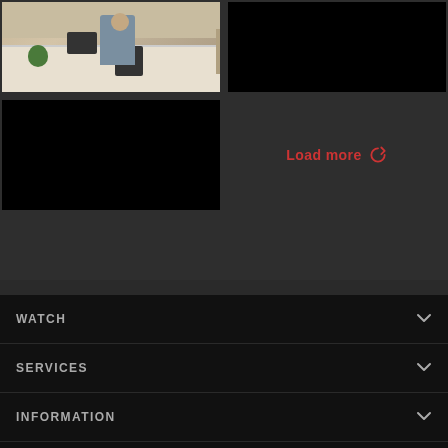[Figure (photo): Person sitting at office cubicle desk with monitor, chair, and plant]
[Figure (photo): Black/dark video thumbnail - top right]
[Figure (photo): Black/dark video thumbnail - bottom left]
Load more
WATCH
SERVICES
INFORMATION